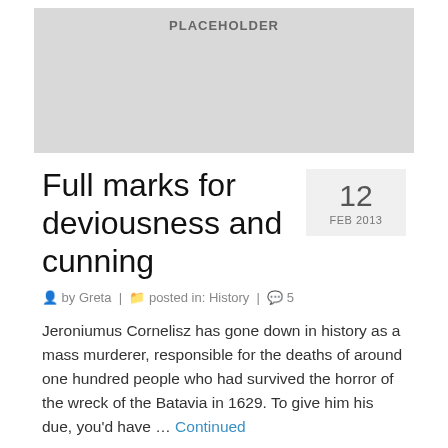[Figure (other): Gray placeholder image rectangle with the text PLACEHOLDER centered near the top]
Full marks for deviousness and cunning
by Greta | posted in: History | 5
Jeroniumus Cornelisz has gone down in history as a mass murderer, responsible for the deaths of around one hundred people who had survived the horror of the wreck of the Batavia in 1629. To give him his due, you'd have … Continued